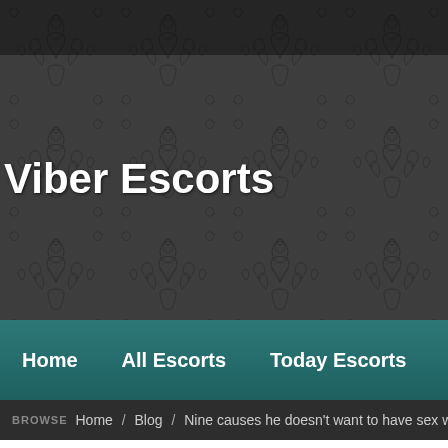[Figure (screenshot): Website header with dark damask/floral patterned background in dark grey tones]
Viber Escorts
Home   All Escorts   Today Escorts   Recruiting
BROWSE  Home / Blog / Nine causes he doesn't want to have sex with Bi